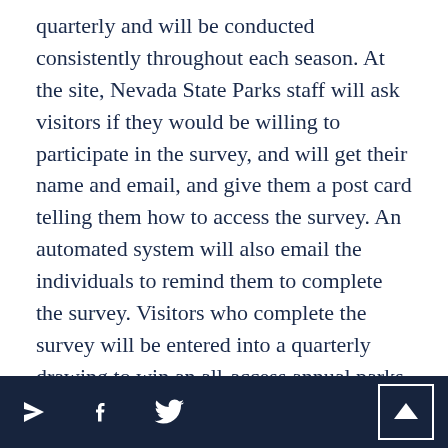quarterly and will be conducted consistently throughout each season. At the site, Nevada State Parks staff will ask visitors if they would be willing to participate in the survey, and will get their name and email, and give them a post card telling them how to access the survey. An automated system will also email the individuals to remind them to complete the survey. Visitors who complete the survey will be entered into a quarterly drawing to win an all-access annual parks pass, which is valued at $250.
navigation footer with share and scroll-to-top icons